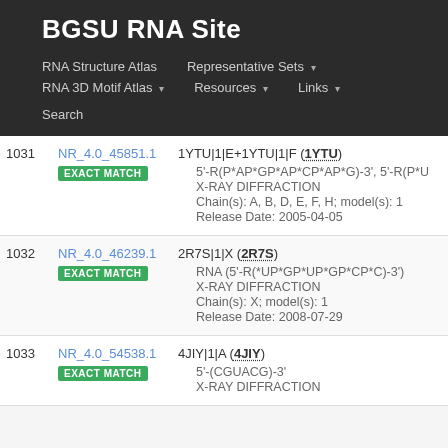BGSU RNA Site
RNA Structure Atlas   Representative Sets ▾   RNA 3D Motif Atlas ▾   Resources ▾   Links ▾   Search
| # | ID | Details |
| --- | --- | --- |
| 1031 | NR_4.0_45851.1 EXACT MATCH | 1YTU|1|E+1YTU|1|F (1YTU)
• 5'-R(P*AP*GP*AP*CP*AP*G)-3', 5'-R(P*...
• X-RAY DIFFRACTION
• Chain(s): A, B, D, E, F, H; model(s): 1
• Release Date: 2005-04-05 |
| 1032 | NR_4.0_46239.1 EXACT MATCH | 2R7S|1|X (2R7S)
• RNA (5'-R(*UP*GP*UP*GP*CP*C)-3')
• X-RAY DIFFRACTION
• Chain(s): X; model(s): 1
• Release Date: 2008-07-29 |
| 1033 | NR_4.0_54538.1 EXACT MATCH | 4JIY|1|A (4JIY)
• 5'-(CGUACG)-3'
• X-RAY DIFFRACTION |